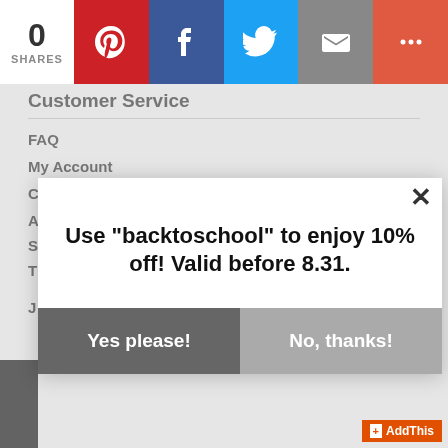0 SHARES
Customer Service
FAQ
My Account
Contact Us
Use "backtoschool" to enjoy 10% off! Valid before 8.31.
Yes please!
No, thanks!
[Figure (screenshot): AddThis sharing widget badge in bottom right corner]